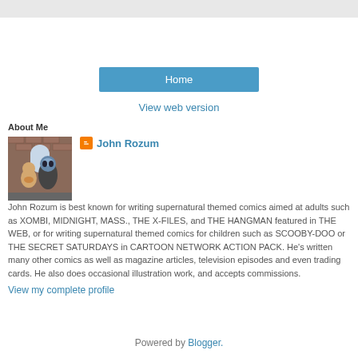Home
View web version
About Me
[Figure (photo): Profile photo of two people, one wearing a costume mask, standing in front of a brick building]
John Rozum
John Rozum is best known for writing supernatural themed comics aimed at adults such as XOMBI, MIDNIGHT, MASS., THE X-FILES, and THE HANGMAN featured in THE WEB, or for writing supernatural themed comics for children such as SCOOBY-DOO or THE SECRET SATURDAYS in CARTOON NETWORK ACTION PACK. He's written many other comics as well as magazine articles, television episodes and even trading cards. He also does occasional illustration work, and accepts commissions.
View my complete profile
Powered by Blogger.